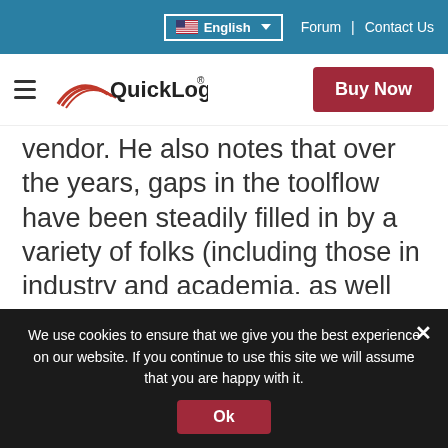English | Forum | Contact Us
[Figure (logo): QuickLogic logo with red swoosh graphic and Buy Now button]
vendor. He also notes that over the years, gaps in the toolflow have been steadily filled in by a variety of folks (including those in industry and academia, as well as by hobbyists) to the point where end-to-end design is now possible – even for full ASIC flows. Given that fact and that QoR is now excellent in most cases, we agree that this approach represents the future of the industry
We use cookies to ensure that we give you the best experience on our website. If you continue to use this site we will assume that you are happy with it.
Ok